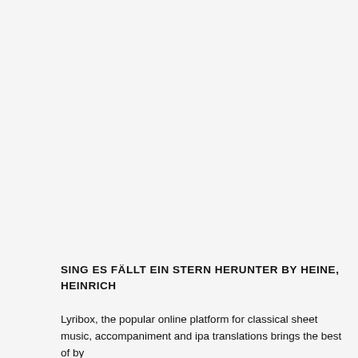SING ES FÄLLT EIN STERN HERUNTER BY HEINE, HEINRICH
Lyribox, the popular online platform for classical sheet music, accompaniment and ipa translations brings the best of by